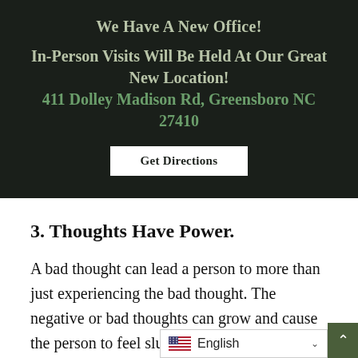We Have A New Office!
In-Person Visits Will Be Held At Our Great New Location!
411 Dolley Madison Rd, Greensboro NC 27410
Get Directions
3. Thoughts Have Power.
A bad thought can lead a person to more than just experiencing the bad thought. The negative or bad thoughts can grow and cause the person to feel sluggish, irritable, or on edge. The feelings can th
English